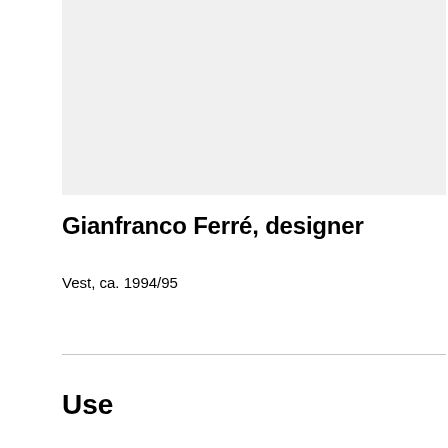[Figure (photo): Light gray rectangular placeholder image area at the top of the page]
Gianfranco Ferré, designer
Vest, ca. 1994/95
Use